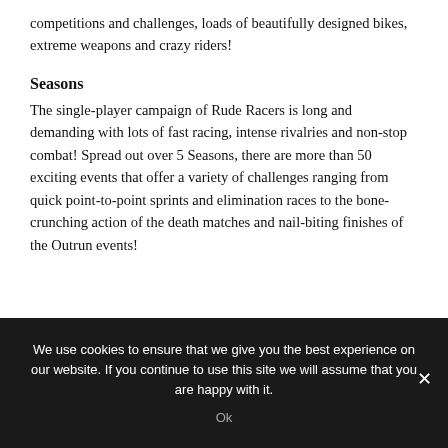competitions and challenges, loads of beautifully designed bikes, extreme weapons and crazy riders!
Seasons
The single-player campaign of Rude Racers is long and demanding with lots of fast racing, intense rivalries and non-stop combat! Spread out over 5 Seasons, there are more than 50 exciting events that offer a variety of challenges ranging from quick point-to-point sprints and elimination races to the bone-crunching action of the death matches and nail-biting finishes of the Outrun events!
We use cookies to ensure that we give you the best experience on our website. If you continue to use this site we will assume that you are happy with it.
Ok